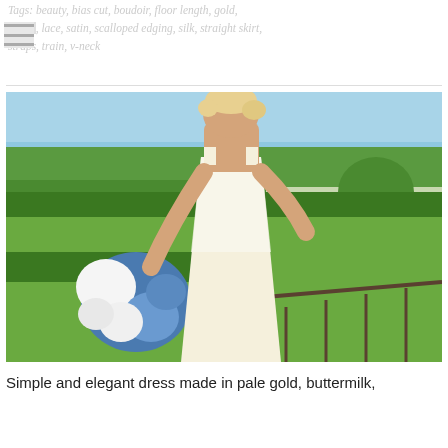Tags: beauty, bias cut, boudoir, floor length, gold, ivory, lace, satin, scalloped edging, silk, straight skirt, straps, train, v-neck
[Figure (photo): A bride in a pale ivory/gold sleeveless lace wedding dress standing outdoors in a garden, holding a bouquet of blue and white flowers. She has blonde hair and is smiling. Green hedges and topiary visible in background.]
Simple and elegant dress made in pale gold, buttermilk,